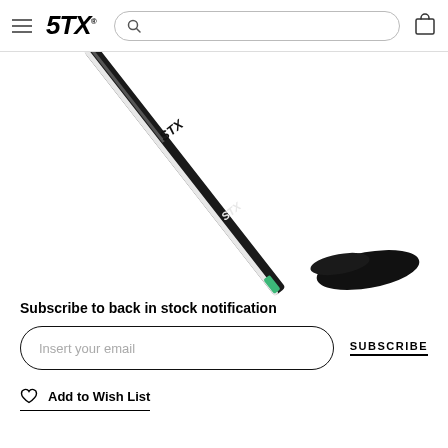STX
[Figure (photo): STX hockey stick with black shaft, white and green accents, and black blade, displayed diagonally against a white background.]
Subscribe to back in stock notification
Insert your email
SUBSCRIBE
Add to Wish List